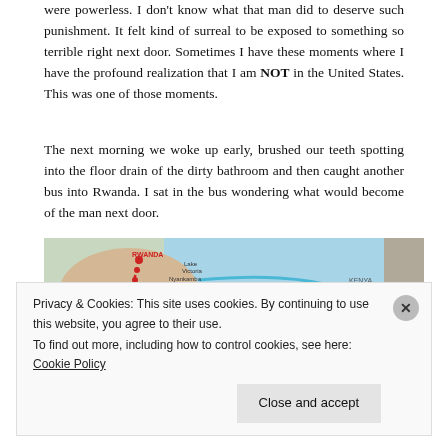were powerless. I don't know what that man did to deserve such punishment. It felt kind of surreal to be exposed to something so terrible right next door. Sometimes I have these moments where I have the profound realization that I am NOT in the United States. This was one of those moments.
The next morning we woke up early, brushed our teeth spotting into the floor drain of the dirty bathroom and then caught another bus into Rwanda. I sat in the bus wondering what would become of the man next door.
[Figure (map): A map showing a travel route with red dotted line through Rwanda, Burundi, Gombe National Park, Kigoma area, with blue line extending east toward Serengeti National Park, Mwanza, Nyankamba, Arusha, and Kenya. Text at bottom left reads 'PLAN YOUR' vertically and 'MV Liemba 4 Nights' horizontally.]
Privacy & Cookies: This site uses cookies. By continuing to use this website, you agree to their use. To find out more, including how to control cookies, see here: Cookie Policy